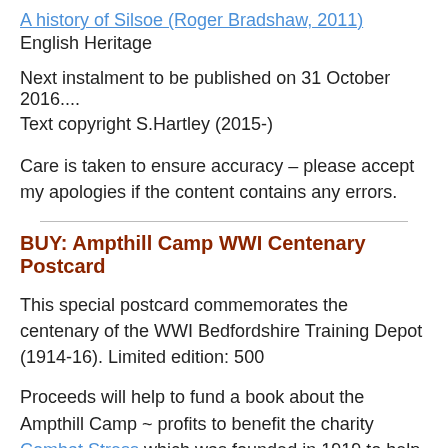A history of Silsoe (Roger Bradshaw, 2011)
English Heritage
Next instalment to be published on 31 October 2016....
Text copyright S.Hartley (2015-)
Care is taken to ensure accuracy – please accept my apologies if the content contains any errors.
BUY: Ampthill Camp WWI Centenary Postcard
This special postcard commemorates the centenary of the WWI Bedfordshire Training Depot (1914-16). Limited edition: 500
Proceeds will help to fund a book about the Ampthill Camp ~ profits to benefit the charity Combat Stress which was founded in 1919 to help WWI veterans deal with shell shock